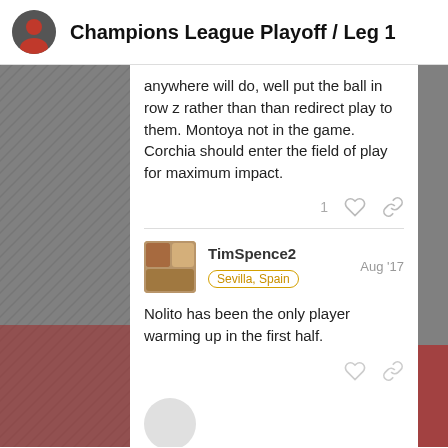Champions League Playoff / Leg 1
anywhere will do, well put the ball in row z rather than than redirect play to them. Montoya not in the game. Corchia should enter the field of play for maximum impact.
TimSpence2  Sevilla, Spain  Aug '17
Nolito has been the only player warming up in the first half.